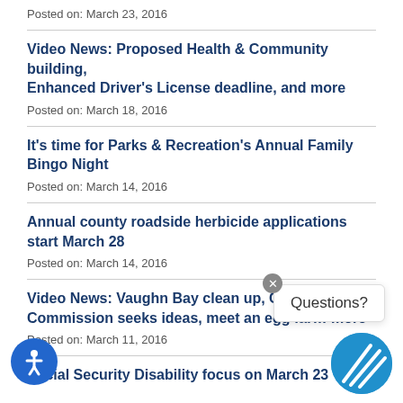Posted on: March 23, 2016
Video News: Proposed Health & Community building, Enhanced Driver's License deadline, and more
Posted on: March 18, 2016
It's time for Parks & Recreation's Annual Family Bingo Night
Posted on: March 14, 2016
Annual county roadside herbicide applications start March 28
Posted on: March 14, 2016
Video News: Vaughn Bay clean up, Charter Commission seeks ideas, meet an egg farmer, and more
Posted on: March 11, 2016
Social Security Disability focus on March 23